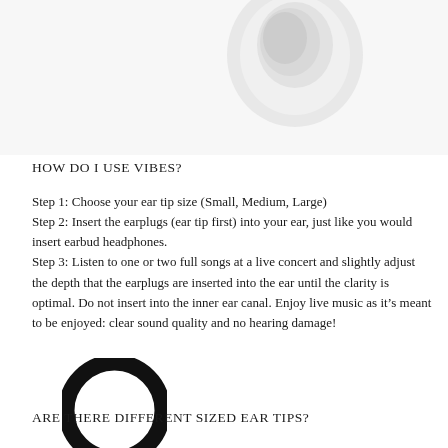[Figure (photo): White earbuds/earplugs photographed from above on white background, partially visible at top of page]
HOW DO I USE VIBES?
Step 1: Choose your ear tip size (Small, Medium, Large)
Step 2: Insert the earplugs (ear tip first) into your ear, just like you would insert earbud headphones.
Step 3: Listen to one or two full songs at a live concert and slightly adjust the depth that the earplugs are inserted into the ear until the clarity is optimal. Do not insert into the inner ear canal. Enjoy live music as it’s meant to be enjoyed: clear sound quality and no hearing damage!
[Figure (logo): Large black circular ring logo overlapping text at bottom left]
ARE THERE DIFFERENT SIZED EAR TIPS?